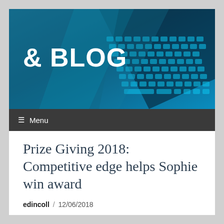[Figure (photo): Blue-tinted laptop keyboard photograph used as blog header banner, with text '& BLOG' overlaid in white bold on the left side]
≡  Menu
Prize Giving 2018: Competitive edge helps Sophie win award
edincoll / 12/06/2018